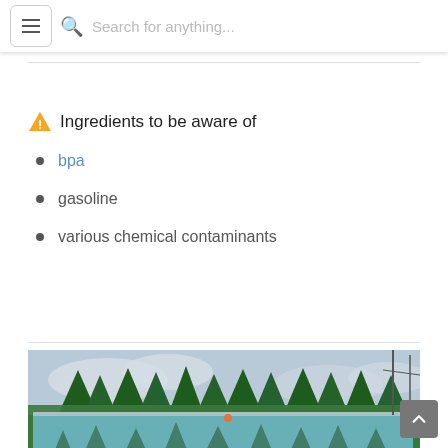Search for anything...
⚠ Ingredients to be aware of
bpa
gasoline
various chemical contaminants
[Figure (photo): Photo of a green bus or vehicle with trees and cloudy sky reflected in windows]